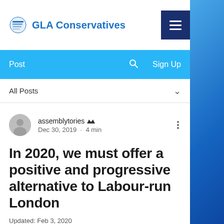GLA Conservatives
Post  Sign Up
All Posts
assemblytories  Dec 30, 2019 · 4 min
In 2020, we must offer a positive and progressive alternative to Labour-run London
Updated: Feb 3, 2020
Article by GLA Conservative Leader